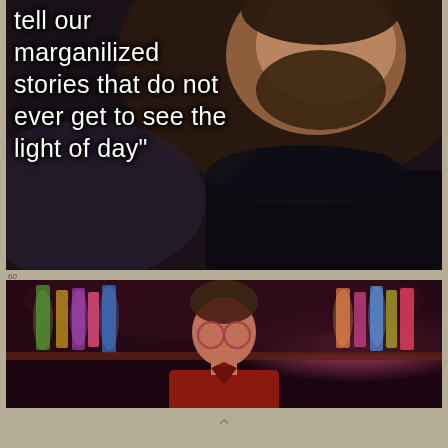[Figure (photo): Dark atmospheric photo of a bearded man in a black hoodie/jacket, photographed from below with dim blue-toned lighting. White rounded text overlaid on the left side reads: 'tell our marganilized stories that do not ever get to see the light of day"']
tell our marganilized stories that do not ever get to see the light of day"
[Figure (photo): A man with glasses wearing a red/maroon open-collar shirt stands in front of a bar with colorful backlit bottles in purple, green, and pink tones. The scene has a moody, cinematic bar atmosphere.]